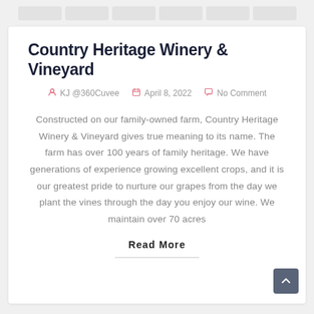Country Heritage Winery & Vineyard
KJ @360Cuvee   April 8, 2022   No Comment
Constructed on our family-owned farm, Country Heritage Winery & Vineyard gives true meaning to its name. The farm has over 100 years of family heritage. We have generations of experience growing excellent crops, and it is our greatest pride to nurture our grapes from the day we plant the vines through the day you enjoy our wine. We maintain over 70 acres
Read More